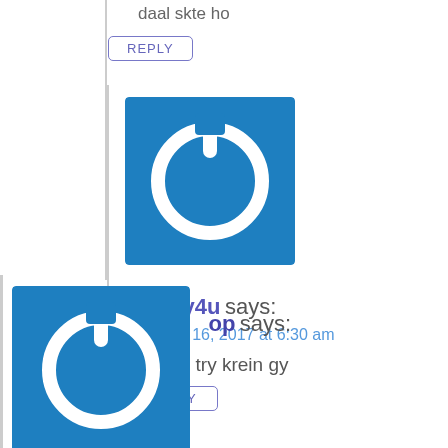daal skte ho
REPLY
[Figure (logo): Blue square avatar with white power button icon - Bolly4u]
Bolly4u says:
- August 16, 2017 at 6:30 am
ok bhai try krein gy
REPLY
[Figure (logo): Blue square avatar with white power button icon - op]
op says:
- August 19, 2017 at 3:33 am
Plzz Admin hindi dubbed kro is movie ko
REPLY